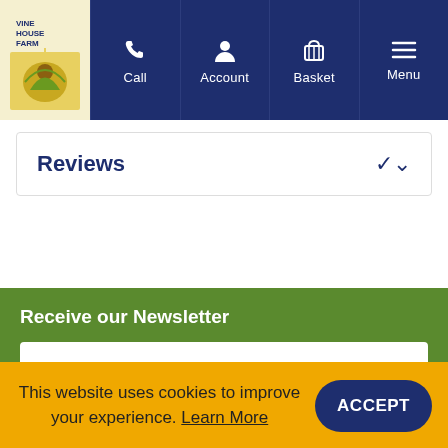Vine House Farm — Call, Account, Basket, Menu navigation
Reviews
Receive our Newsletter
Enter email address
SUBSCRIBE
This website uses cookies to improve your experience. Learn More
ACCEPT